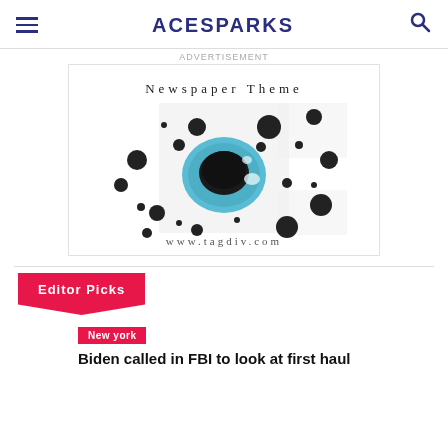ACESPARKS
[Figure (illustration): Newspaper Theme promotional image showing a top-down view of a coffee cup on a blue saucer surrounded by black dots on a white background, with text 'Newspaper Theme' and 'www.tagdiv.com']
ADVERTISEMENT
Editor Picks
New york
Biden called in FBI to look at first haul